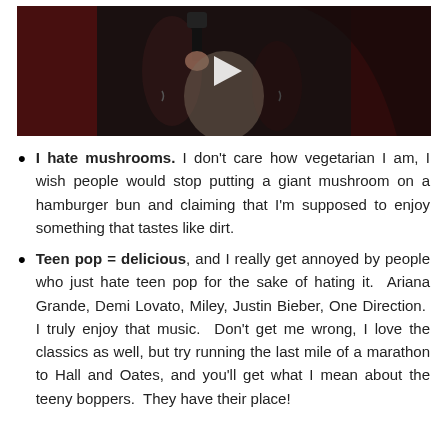[Figure (photo): A performer on stage holding a microphone, with tattoos visible on both arms, wearing a light-colored outfit, with a dark background. A play button overlay is shown in the center.]
I hate mushrooms. I don't care how vegetarian I am, I wish people would stop putting a giant mushroom on a hamburger bun and claiming that I'm supposed to enjoy something that tastes like dirt.
Teen pop = delicious, and I really get annoyed by people who just hate teen pop for the sake of hating it. Ariana Grande, Demi Lovato, Miley, Justin Bieber, One Direction. I truly enjoy that music. Don't get me wrong, I love the classics as well, but try running the last mile of a marathon to Hall and Oates, and you'll get what I mean about the teeny boppers. They have their place!